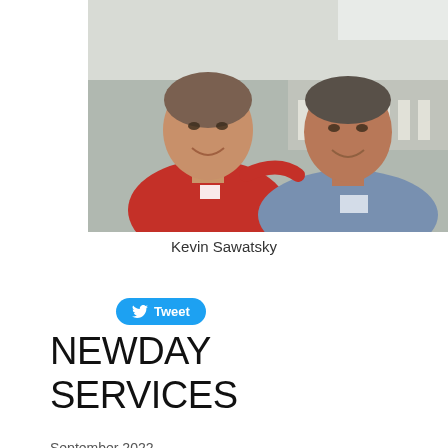[Figure (photo): Two men standing together smiling, one in a red polo shirt with a name tag and one in a blue polo shirt with a name tag, at what appears to be an indoor gathering or banquet event]
Kevin Sawatsky
[Figure (other): Twitter Tweet button with bird logo]
NEWDAY SERVICES ARCHIVES
September 2022